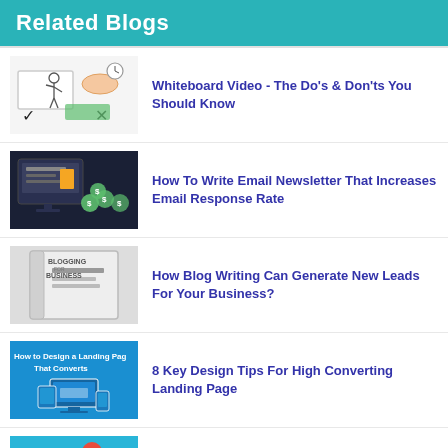Related Blogs
Whiteboard Video - The Do's & Don'ts You Should Know
How To Write Email Newsletter That Increases Email Response Rate
How Blog Writing Can Generate New Leads For Your Business?
8 Key Design Tips For High Converting Landing Page
Top 5 Successful Email Marketing Campaign Tips To Generate Leads